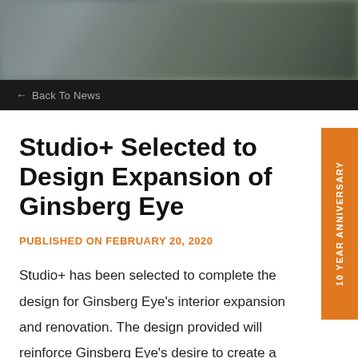[Figure (photo): Blurred hero image at top of page, showing an exterior or interior scene in muted gray-green tones]
← Back To News
Studio+ Selected to Design Expansion of Ginsberg Eye
PUBLISHED ON FEBRUARY 20, 2020
Studio+ has been selected to complete the design for Ginsberg Eye's interior expansion and renovation. The design provided will reinforce Ginsberg Eye's desire to create a unique patient focused environment centered on solutions which address individual client needs.